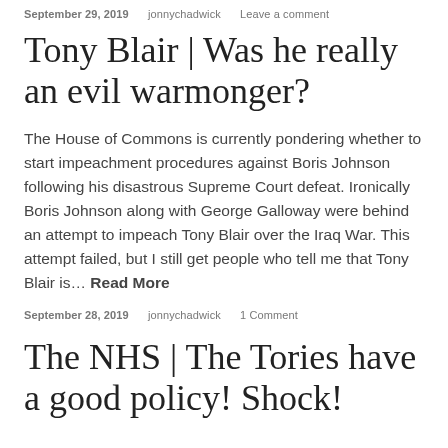September 29, 2019   jonnychadwick   Leave a comment
Tony Blair | Was he really an evil warmonger?
The House of Commons is currently pondering whether to start impeachment procedures against Boris Johnson following his disastrous Supreme Court defeat. Ironically Boris Johnson along with George Galloway were behind an attempt to impeach Tony Blair over the Iraq War. This attempt failed, but I still get people who tell me that Tony Blair is… Read More
September 28, 2019   jonnychadwick   1 Comment
The NHS | The Tories have a good policy! Shock!